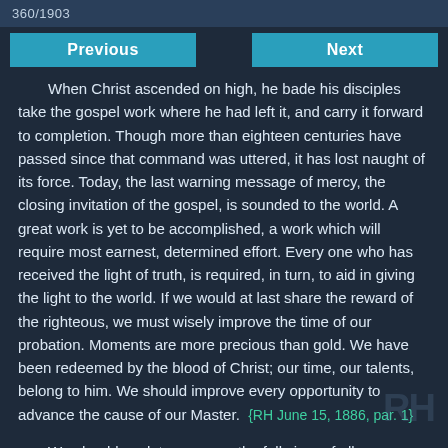360/1903
Previous
Next
When Christ ascended on high, he bade his disciples take the gospel work where he had left it, and carry it forward to completion. Though more than eighteen centuries have passed since that command was uttered, it has lost naught of its force. Today, the last warning message of mercy, the closing invitation of the gospel, is sounded to the world. A great work is yet to be accomplished, a work which will require most earnest, determined effort. Every one who has received the light of truth, is required, in turn, to aid in giving the light to the world. If we would at last share the reward of the righteous, we must wisely improve the time of our probation. Moments are more precious than gold. We have been redeemed by the blood of Christ; our time, our talents, belong to him. We should improve every opportunity to advance the cause of our Master. {RH June 15, 1886, par. 1}
We should seek to preserve the full vigor of all our powers, for the accomplishment of the work before us. Whatever detracts from physical vigor, weakens mental effort. Hence, every practice unfavorable to the health of the body, should be resolutely shunned. {RH June 15, 1886, par. 2}